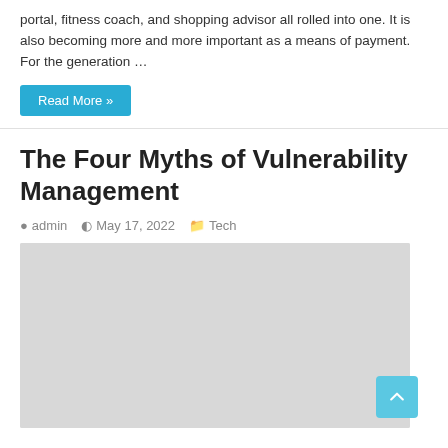portal, fitness coach, and shopping advisor all rolled into one. It is also becoming more and more important as a means of payment. For the generation …
Read More »
The Four Myths of Vulnerability Management
admin   May 17, 2022   Tech
[Figure (photo): A light grey placeholder image for the article about The Four Myths of Vulnerability Management]